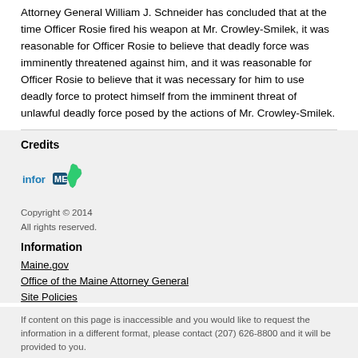Attorney General William J. Schneider has concluded that at the time Officer Rosie fired his weapon at Mr. Crowley-Smilek, it was reasonable for Officer Rosie to believe that deadly force was imminently threatened against him, and it was reasonable for Officer Rosie to believe that it was necessary for him to use deadly force to protect himself from the imminent threat of unlawful deadly force posed by the actions of Mr. Crowley-Smilek.
Credits
[Figure (logo): InforME logo with text 'inforME' and a green shape of Maine state]
Copyright © 2014
All rights reserved.
Information
Maine.gov
Office of the Maine Attorney General
Site Policies
If content on this page is inaccessible and you would like to request the information in a different format, please contact (207) 626-8800 and it will be provided to you.